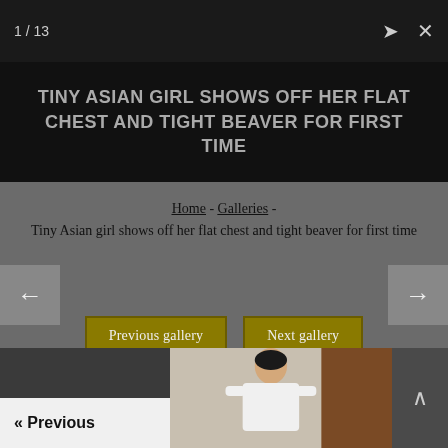1 / 13
TINY ASIAN GIRL SHOWS OFF HER FLAT CHEST AND TIGHT BEAVER FOR FIRST TIME
Home - Galleries - Tiny Asian girl shows off her flat chest and tight beaver for first time
Previous gallery
Next gallery
Open slideshow
« Previous